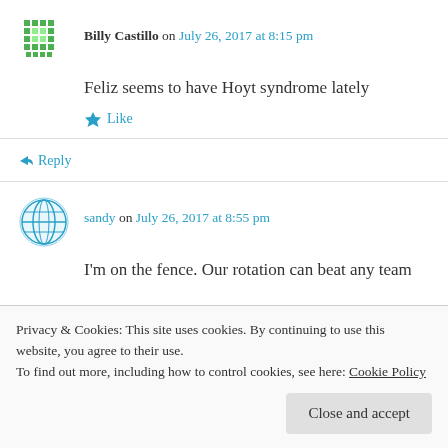Billy Castillo on July 26, 2017 at 8:15 pm
Feliz seems to have Hoyt syndrome lately
Like
Reply
sandy on July 26, 2017 at 8:55 pm
I'm on the fence. Our rotation can beat any team
Privacy & Cookies: This site uses cookies. By continuing to use this website, you agree to their use.
To find out more, including how to control cookies, see here: Cookie Policy
Close and accept
for me to feel any confidence.